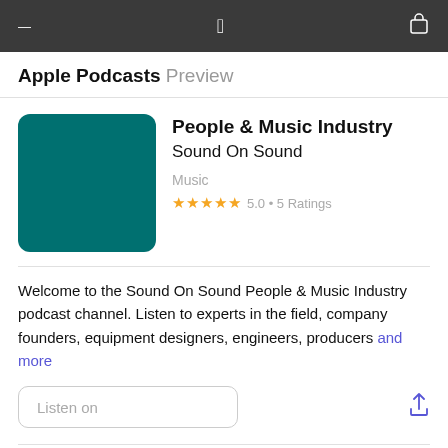Apple Podcasts Preview
[Figure (illustration): Teal/dark green square podcast artwork with rounded corners for 'People & Music Industry' by Sound On Sound]
People & Music Industry
Sound On Sound
Music
★★★★★ 5.0 • 5 Ratings
Welcome to the Sound On Sound People & Music Industry podcast channel. Listen to experts in the field, company founders, equipment designers, engineers, producers and more
Listen on